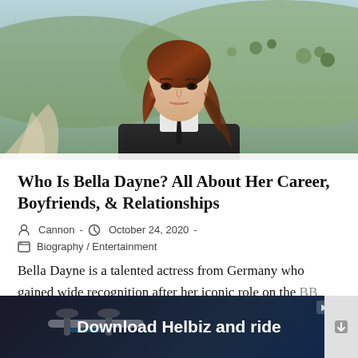[Figure (photo): Photo of Bella Dayne, a young woman with long dark auburn hair, wearing a dark jacket and tie, taking a selfie outdoors on a hillside with scrubby vegetation and a path visible in the background.]
Who Is Bella Dayne? All About Her Career, Boyfriends, & Relationships
Cannon - October 24, 2020 - Biography / Entertainment
Bella Dayne is a talented actress from Germany who gained wide recognition after her iconic role on the BB
[Figure (screenshot): Advertisement banner reading 'Download Helbiz and ride' with a dark background showing a scooter handlebar image, and close/play buttons in the top right.]